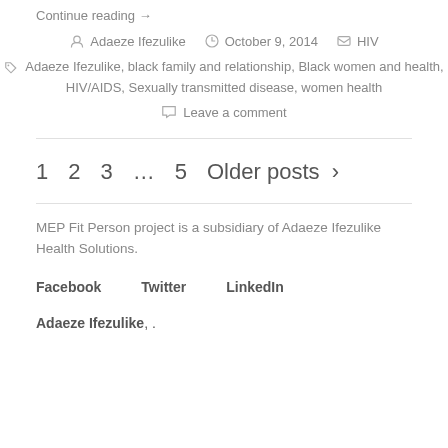Continue reading →
Adaeze Ifezulike   October 9, 2014   HIV
Adaeze Ifezulike, black family and relationship, Black women and health, HIV/AIDS, Sexually transmitted disease, women health
Leave a comment
1  2  3  …  5  Older posts >
MEP Fit Person project is a subsidiary of Adaeze Ifezulike Health Solutions.
Facebook   Twitter   LinkedIn
Adaeze Ifezulike, .